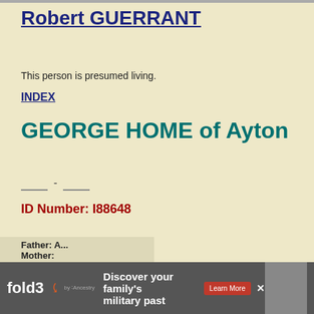Robert GUERRANT
This person is presumed living.
INDEX
GEORGE HOME of Ayton
_____ - _____
ID Number: I88648
RESIDENCE: Scotland
RESOURCES: See: [S3273]
Father: A... Mother:
[Figure (advertisement): fold3 by Ancestry advertisement: Discover your family's military past with Learn More button and photo of people in military uniform]